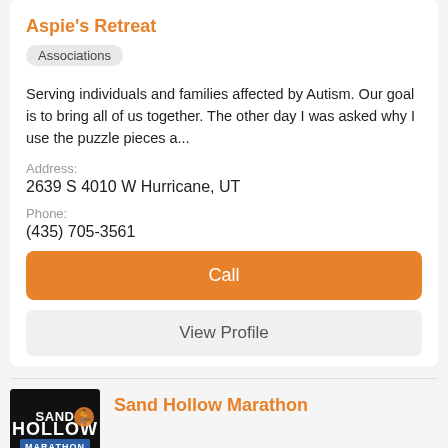Aspie's Retreat
Associations
Serving individuals and families affected by Autism. Our goal is to bring all of us together. The other day I was asked why I use the puzzle pieces a...
Address:
2639 S 4010 W Hurricane, UT
Phone:
(435) 705-3561
Call
View Profile
[Figure (logo): Sand Hollow Marathon logo — dark background with text and graphic]
Sand Hollow Marathon